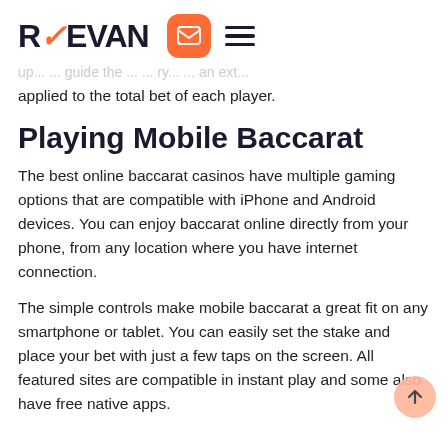REEVAN [logo with navigation icons]
applied to the total bet of each player.
Playing Mobile Baccarat
The best online baccarat casinos have multiple gaming options that are compatible with iPhone and Android devices. You can enjoy baccarat online directly from your phone, from any location where you have internet connection.
The simple controls make mobile baccarat a great fit on any smartphone or tablet. You can easily set the stake and place your bet with just a few taps on the screen. All featured sites are compatible in instant play and some also have free native apps.